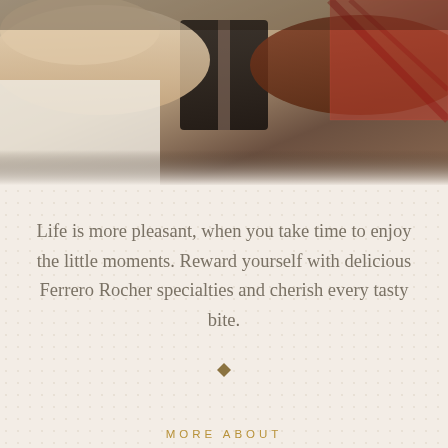[Figure (photo): Photo of people's hands passing or sharing a dark gift box, one person in a white outfit, another in a red-checked pattern, background is warm and soft-focus]
Life is more pleasant, when you take time to enjoy the little moments. Reward yourself with delicious Ferrero Rocher specialties and cherish every tasty bite.
MORE ABOUT
FERRERO ROCHER